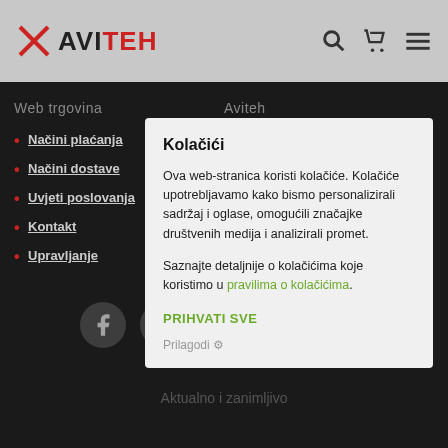AVITEH
Web trgovina
Aviteh
Načini plaćanja
Načini dostave
Uvjeti poslovanja
Kontakt
Upravljanje
O nama
Zastupstva
Usluge
Servis
Kolačići

Ova web-stranica koristi kolačiće. Kolačiće upotrebljavamo kako bismo personalizirali sadržaj i oglase, omogućili značajke društvenih medija i analizirali promet.

Saznajte detaljnije o kolačićima koje koristimo u pravilima o kolačićima.

PRIHVATI SVE

Prilagodi